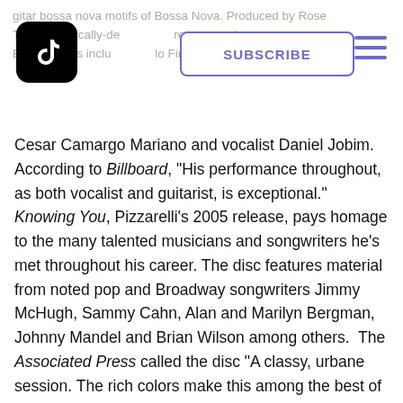TikTok app header with Subscribe button and hamburger menu
Cesar Camargo Mariano and vocalist Daniel Jobim. According to Billboard, "His performance throughout, as both vocalist and guitarist, is exceptional." Knowing You, Pizzarelli's 2005 release, pays homage to the many talented musicians and songwriters he's met throughout his career. The disc features material from noted pop and Broadway songwriters Jimmy McHugh, Sammy Cahn, Alan and Marilyn Bergman, Johnny Mandel and Brian Wilson among others. The Associated Press called the disc "A classy, urbane session. The rich colors make this among the best of Pizzarelli's albums."
In 2006, Telarc introduced Dear Mr. Sinatra, John's tribute CD to "Ol' Blue Eyes," featuring the Clayton-Hamilton Jazz Orchestra. The CD features John Clayton's clever reworking of classic standards like "I've Got You Under My Skin" and "You Make Me Feel So Young," as well as songs written Sinatra for